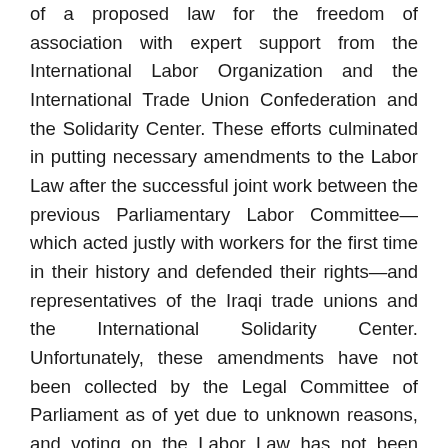of a proposed law for the freedom of association with expert support from the International Labor Organization and the International Trade Union Confederation and the Solidarity Center. These efforts culminated in putting necessary amendments to the Labor Law after the successful joint work between the previous Parliamentary Labor Committee—which acted justly with workers for the first time in their history and defended their rights—and representatives of the Iraqi trade unions and the International Solidarity Center. Unfortunately, these amendments have not been collected by the Legal Committee of Parliament as of yet due to unknown reasons, and voting on the Labor Law has not been completed because of the political crisis that gripped the country in 2014 and due to the lack of a quorum of Parliament in several sessions where the law was listed on the meetings' agendas.